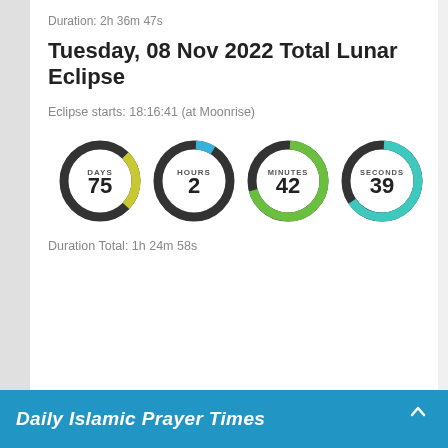Duration: 2h 36m 47s
Tuesday, 08 Nov 2022 Total Lunar Eclipse
Eclipse starts: 18:16:41 (at Moonrise)
[Figure (infographic): Four donut/ring countdown timers showing DAYS: 75, HOURS: 2, MINUTES: 42, SECONDS: 39. Each ring is partially filled with a color (yellow-green for days, blue for hours, green for minutes, teal for seconds).]
Duration Total: 1h 24m 58s
Daily Islamic Prayer Times